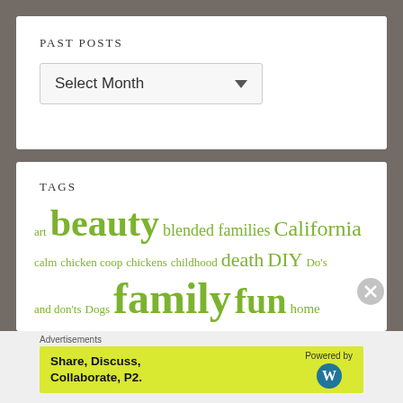Past Posts
Select Month
Tags
art beauty blended families California calm chicken coop chickens childhood death DIY Do's and don'ts Dogs family fun home homesteading kids first kindness life
Advertisements
Share, Discuss, Collaborate, P2. Powered by [WordPress logo]